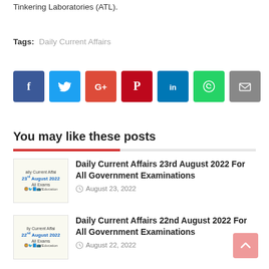Tinkering Laboratories (ATL).
Tags: Daily Current Affairs
[Figure (infographic): Row of social media share buttons: Facebook (blue), Twitter (light blue), Google+ (red-orange), Pinterest (dark red), LinkedIn (blue), WhatsApp (green), Email (gray)]
You may like these posts
Daily Current Affairs 23rd August 2022 For All Government Examinations
August 23, 2022
Daily Current Affairs 22nd August 2022 For All Government Examinations
August 22, 2022